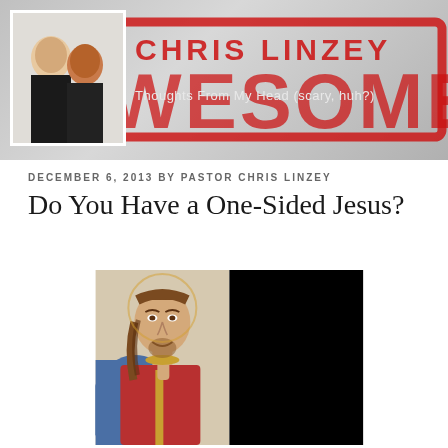[Figure (illustration): Blog header banner with red AWESOME stamp graphic, 'CHRIS LINZEY' text in red capital letters, subtitle 'Thoughts From My Head (scary, huh?)' in light text, and a photo of a man and woman couple on the left side]
DECEMBER 6, 2013 BY PASTOR CHRIS LINZEY
Do You Have a One-Sided Jesus?
[Figure (illustration): Image of a classic religious painting of Jesus Christ (showing him with long brown hair, red robe, blue cloak, one finger raised), but the right half of the image is replaced with solid black, illustrating a 'one-sided' view]